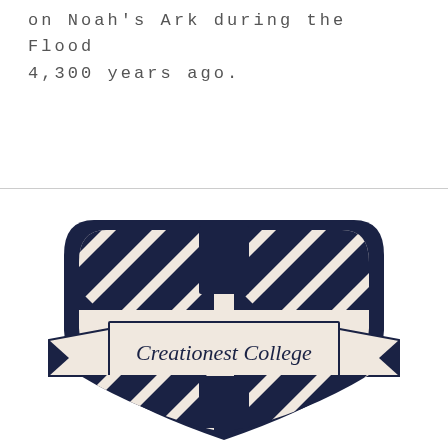on Noah's Ark during the Flood 4,300 years ago.
[Figure (logo): Creationest College shield logo with navy blue crest shape, diagonal stripes, and a banner reading 'Creationest College' in navy text on a cream/beige background.]